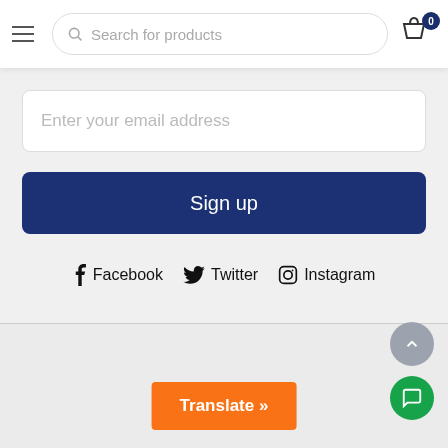Search for products
Enter your email address
Sign up
Facebook  Twitter  Instagram
Translate »